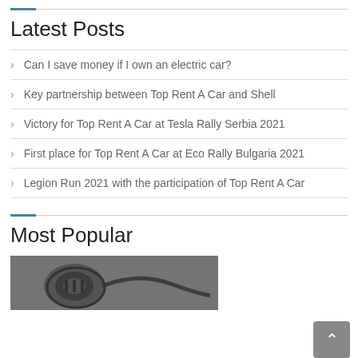Latest Posts
Can I save money if I own an electric car?
Key partnership between Top Rent A Car and Shell
Victory for Top Rent A Car at Tesla Rally Serbia 2021
First place for Top Rent A Car at Eco Rally Bulgaria 2021
Legion Run 2021 with the participation of Top Rent A Car
Most Popular
[Figure (photo): Black and white close-up photo of an electric car charging port/connector]